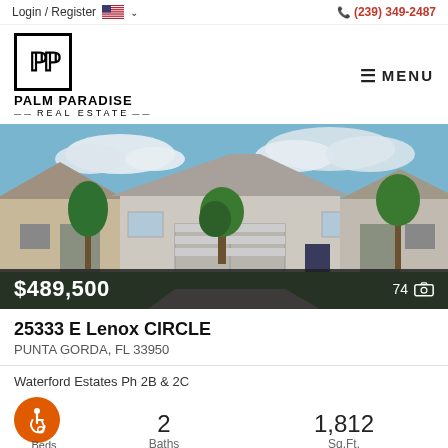Login / Register  (239) 349-2487
[Figure (logo): Palm Paradise Real Estate logo — square box with stylized P letters, brand name below]
[Figure (photo): Exterior photo of a single-story Florida home with two-car garage, green lawn, blue sky. Price overlay: $489,500, photo count: 74]
25333 E Lenox CIRCLE
PUNTA GORDA, FL 33950
Waterford Estates Ph 2B & 2C
2 Beds   2 Baths   1,812 Sq.Ft.